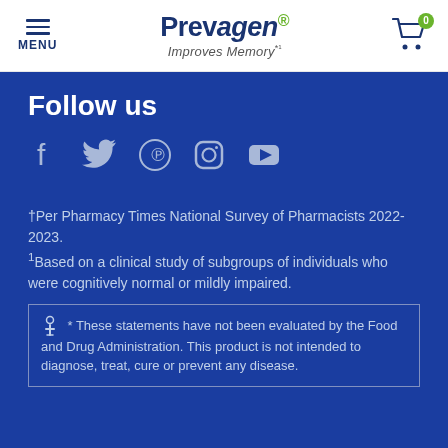MENU | Prevagen® Improves Memory*¹ | Cart 0
Follow us
[Figure (illustration): Social media icons: Facebook, Twitter, Pinterest, Instagram, YouTube]
†Per Pharmacy Times National Survey of Pharmacists 2022-2023.
¹Based on a clinical study of subgroups of individuals who were cognitively normal or mildly impaired.
* These statements have not been evaluated by the Food and Drug Administration. This product is not intended to diagnose, treat, cure or prevent any disease.